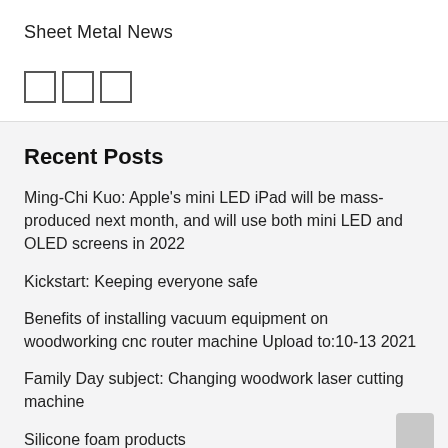Sheet Metal News
[Figure (other): Three small empty squares/checkbox icons]
Recent Posts
Ming-Chi Kuo: Apple's mini LED iPad will be mass-produced next month, and will use both mini LED and OLED screens in 2022
Kickstart: Keeping everyone safe
Benefits of installing vacuum equipment on woodworking cnc router machine Upload to:10-13 2021
Family Day subject: Changing woodwork laser cutting machine
Silicone foam products